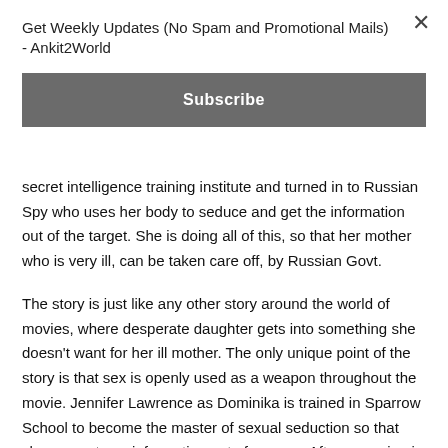Get Weekly Updates (No Spam and Promotional Mails) - Ankit2World
Subscribe
secret intelligence training institute and turned in to Russian Spy who uses her body to seduce and get the information out of the target. She is doing all of this, so that her mother who is very ill, can be taken care off, by Russian Govt.
The story is just like any other story around the world of movies, where desperate daughter gets into something she doesn't want for her ill mother. The only unique point of the story is that sex is openly used as a weapon throughout the movie. Jennifer Lawrence as Dominika is trained in Sparrow School to become the master of sexual seduction so that she can get any information out of anyone. After emerging in the